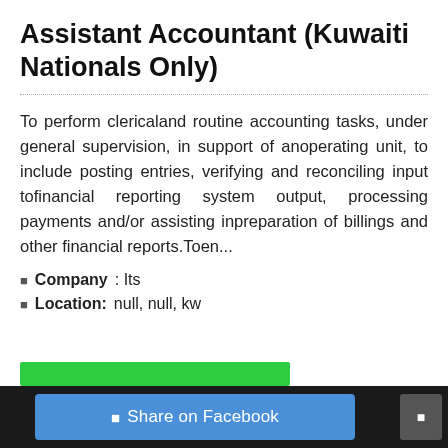Assistant Accountant (Kuwaiti Nationals Only)
To perform clericaland routine accounting tasks, under general supervision, in support of anoperating unit, to include posting entries, verifying and reconciling input tofinancial reporting system output, processing payments and/or assisting inpreparation of billings and other financial reports.Toen...
Company: Its
Location: null, null, kw